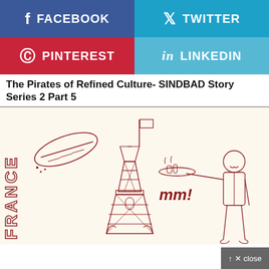[Figure (screenshot): Social media share buttons: Facebook (blue), Twitter (light blue), Pinterest (red), LinkedIn (light blue)]
The Pirates of Refined Culture- SINDBAD Story Series 2 Part 5
[Figure (illustration): France-themed illustration: Eiffel Tower with flag, baguette, text FRANCE vertically, waiter carrying tray, dining table with food, 'mm!' text, watermark Freshticles.com]
[Figure (screenshot): Close button overlay in bottom-right corner with up arrow and 'x close' label]